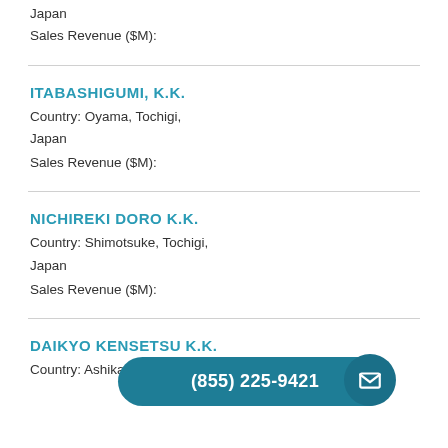Japan
Sales Revenue ($M):
ITABASHIGUMI, K.K.
Country: Oyama, Tochigi,
Japan
Sales Revenue ($M):
NICHIREKI DORO K.K.
Country: Shimotsuke, Tochigi,
Japan
Sales Revenue ($M):
DAIKYO KENSETSU K.K.
Country: Ashikaga, Tochigi,